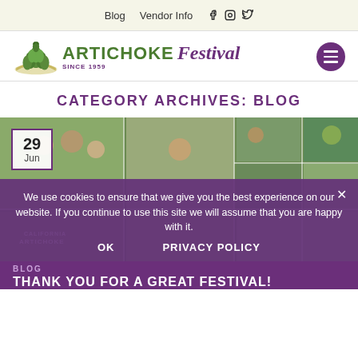Blog   Vendor Info
[Figure (logo): Artichoke Festival logo with artichoke icon, text 'ARTICHOKE Festival SINCE 1959' and purple hamburger menu button]
CATEGORY ARCHIVES: BLOG
[Figure (photo): Photo collage of festival attendees wearing artichoke crowns, children, and an artichoke mascot. Date badge shows 29 Jun in top left corner.]
We use cookies to ensure that we give you the best experience on our website. If you continue to use this site we will assume that you are happy with it.
OK   PRIVACY POLICY
BLOG
THANK YOU FOR A GREAT FESTIVAL!